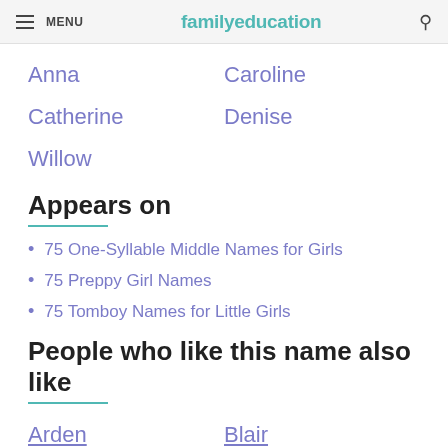MENU | familyeducation
Anna
Caroline
Catherine
Denise
Willow
Appears on
75 One-Syllable Middle Names for Girls
75 Preppy Girl Names
75 Tomboy Names for Little Girls
People who like this name also like
Arden
Blair
Harlow
Maeve